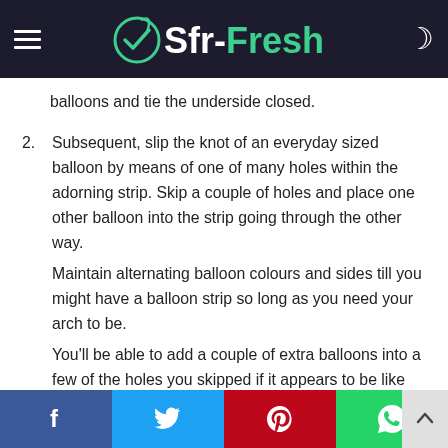Sfr-Fresh
balloons and tie the underside closed.
2. Subsequent, slip the knot of an everyday sized balloon by means of one of many holes within the adorning strip. Skip a couple of holes and place one other balloon into the strip going through the other way.
Maintain alternating balloon colours and sides till you might have a balloon strip so long as you need your arch to be.
You'll be able to add a couple of extra balloons into a few of the holes you skipped if it appears to be like too sparse, however be certain that to depart some room so
f  Twitter  P  WhatsApp